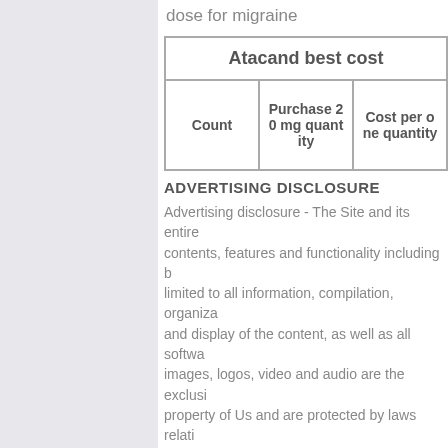dose for migraine
| Atacand best cost |  |  |
| --- | --- | --- |
| Count | Purchase 20 mg quantity | Cost per one quantity |
ADVERTISING DISCLOSURE
Advertising disclosure - The Site and its entire contents, features and functionality including but limited to all information, compilation, organization and display of the content, as well as all software, images, logos, video and audio are the exclusive property of Us and are protected by laws relating to intellectual property.
Covering the skin that is treated with triamcinolone topical can increase the amount of the drug your skin absorbs. http://www.ehealthwork.eu/elocon-top-mometasone-lotion-solution-4037173 , so you